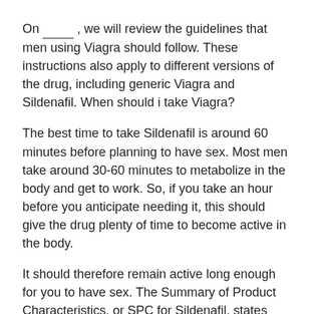On ____ , we will review the guidelines that men using Viagra should follow. These instructions also apply to different versions of the drug, including generic Viagra and Sildenafil. When should i take Viagra?
The best time to take Sildenafil is around 60 minutes before planning to have sex. Most men take around 30-60 minutes to metabolize in the body and get to work. So, if you take an hour before you anticipate needing it, this should give the drug plenty of time to become active in the body.
It should therefore remain active long enough for you to have sex. The Summary of Product Characteristics, or SPC for Sildenafil, states that it produces an erectile response to sexual stimulation for 4-5 hours after taking. If you find that it doesn't last long enough or takes a long time to work, talk to your doctor to adjust your dose.
Taking Viagra with food and alcohol